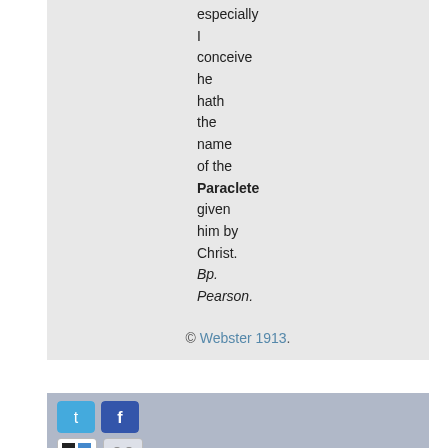especially I conceive he hath the name of the Paraclete given him by Christ. Bp. Pearson.
© Webster 1913.
[Figure (infographic): Social sharing buttons: Twitter, Facebook, Delicious, Friends/Digg, StumbleUpon, Reddit icons with 'I like it!' text]
| The Order of the | Ampocia | Sing, my Tongue, | Bachelorette |